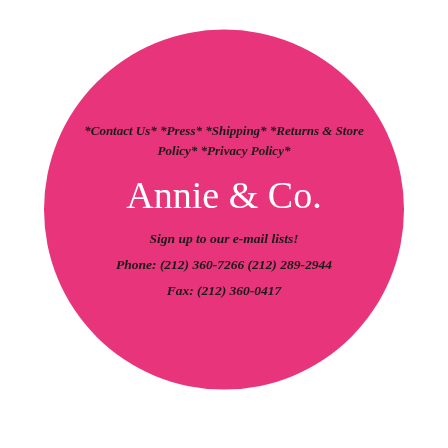[Figure (illustration): Large hot pink circle containing business contact information and brand name for Annie & Co.]
*Contact Us* *Press* *Shipping* *Returns & Store Policy* *Privacy Policy*
Annie & Co.
Sign up to our e-mail lists!
Phone: (212) 360-7266 (212) 289-2944
Fax: (212) 360-0417